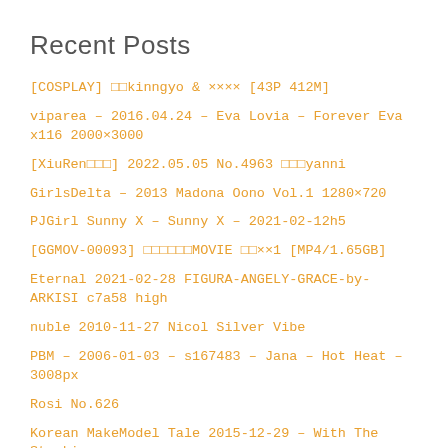Recent Posts
[COSPLAY] □□kinngyo & ×××× [43P 412M]
viparea – 2016.04.24 – Eva Lovia – Forever Eva x116 2000×3000
[XiuRen□□□] 2022.05.05 No.4963 □□□yanni
GirlsDelta – 2013 Madona Oono Vol.1 1280×720
PJGirl Sunny X – Sunny X – 2021-02-12h5
[GGMOV-00093] □□□□□□MOVIE □□××1 [MP4/1.65GB]
Eternal 2021-02-28 FIGURA-ANGELY-GRACE-by-ARKISI c7a58 high
nuble 2010-11-27 Nicol Silver Vibe
PBM – 2006-01-03 – s167483 – Jana – Hot Heat – 3008px
Rosi No.626
Korean MakeModel Tale 2015-12-29 – With The Stockings